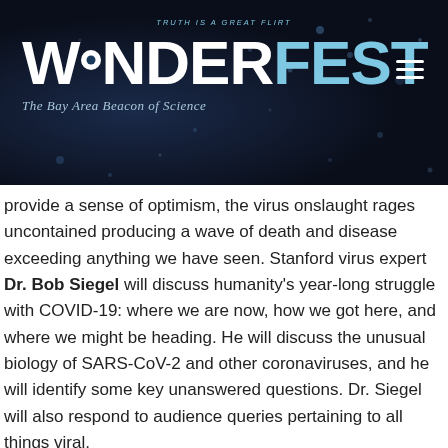[Figure (logo): Wonderfest logo on dark blue/black background with rain bokeh dots. Shows 'WONDER' in white bold and 'FEST' in light blue bold, with an eye icon replacing the 'O'. Tagline 'TRUTH IS A GREAT FLIRT' above. Subtitle 'The Bay Area Beacon of Science' in italic below. Hamburger menu icon top right.]
provide a sense of optimism, the virus onslaught rages uncontained producing a wave of death and disease exceeding anything we have seen. Stanford virus expert Dr. Bob Siegel will discuss humanity's year-long struggle with COVID-19: where we are now, how we got here, and where we might be heading. He will discuss the unusual biology of SARS-CoV-2 and other coronaviruses, and he will identify some key unanswered questions. Dr. Siegel will also respond to audience queries pertaining to all things viral.
Robert Siegel, MD/PhD, is Professor of Microbiology & Immunology at Stanford University. Bob has won more than a dozen awards for his teaching at Stanford, and he has served as Wonderfest Advisor for nearly twenty years.